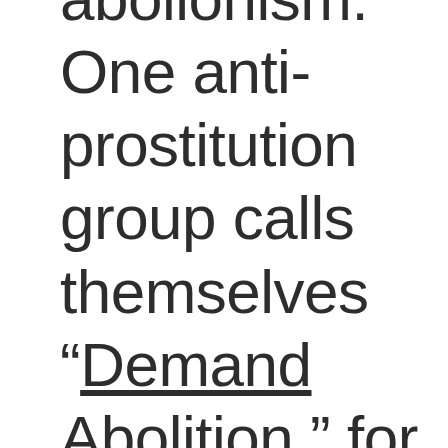abolionism. One anti-prostitution group calls themselves “Demand Abolition,” for example. Conflating